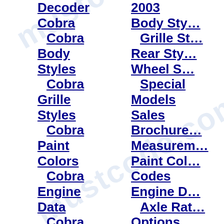Decoder
Cobra
Cobra Body Styles
Cobra Grille Styles
Cobra Paint Colors
Cobra Engine Data
Cobra Prod Totals
Cobra VIN Decoder
Saleen
Saleen Body Styles
Saleen Prod
2003
Body Styles
Grille Styles
Rear Styles
Wheel Styles
Special Models
Sales Brochures
Measurements
Paint Color Codes
Engine Data
Axle Ratios
Options Available
Production Totals
VIN Decoder
Shelby
Shelby Body Styles
Shelby Grille Styles
Shelby Paint Colors